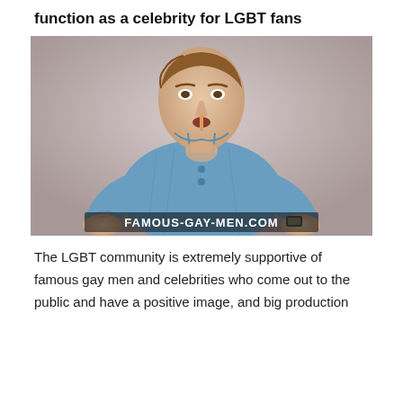function as a celebrity for LGBT fans
[Figure (photo): A young man in an open denim shirt, with something in his mouth, leaning forward. Watermark reads FAMOUS-GAY-MEN.COM at the bottom.]
The LGBT community is extremely supportive of famous gay men and celebrities who come out to the public and have a positive image, and big production